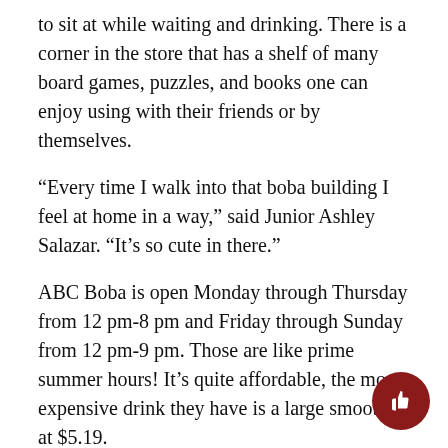to sit at while waiting and drinking. There is a corner in the store that has a shelf of many board games, puzzles, and books one can enjoy using with their friends or by themselves.
“Every time I walk into that boba building I feel at home in a way,” said Junior Ashley Salazar. “It’s so cute in there.”
ABC Boba is open Monday through Thursday from 12 pm-8 pm and Friday through Sunday from 12 pm-9 pm. Those are like prime summer hours! It’s quite affordable, the most expensive drink they have is a large smoothie at $5.19.
“Me and my oboe gang like to visit ABC Boba to celebrate special occasions,” said Senior Logan Boyd. “When we all made state, we went to treat ourselves to a cup of boba.”